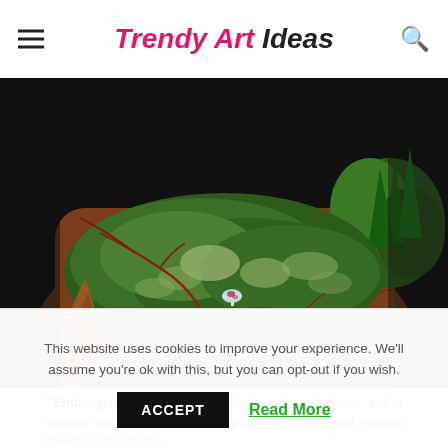Trendy Art Ideas
[Figure (photo): A piece of wood art called 'Endangered in Oregon' showing a carved/decorated log section with moss, small mushroom, pine needles, and red branches on a dark background.]
“Endangered in Oregon” – A friend an Arborist and I worked together to create a piece to benefit old growth forest sustainability.
This website uses cookies to improve your experience. We'll assume you're ok with this, but you can opt-out if you wish.